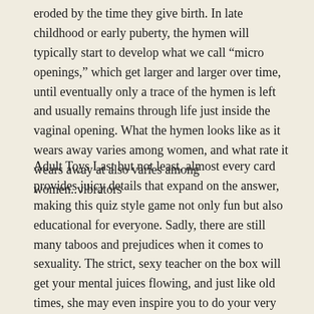eroded by the time they give birth. In late childhood or early puberty, the hymen will typically start to develop what we call “micro openings,” which get larger and larger over time, until eventually only a trace of the hymen is left and usually remains through life just inside the vaginal opening. What the hymen looks like as it wears away varies among women, and what rate it wears away at also varies among women..vibrators
Adult Toys Last but not least, almost every card provides juicy details that expand on the answer, making this quiz style game not only fun but also educational for everyone. Sadly, there are still many taboos and prejudices when it comes to sexuality. The strict, sexy teacher on the box will get your mental juices flowing, and just like old times, she may even inspire you to do your very best if only to impress her.Adult Toys